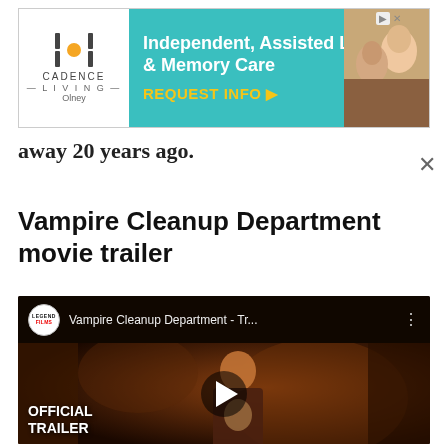[Figure (screenshot): Advertisement banner for Cadence Living Olney - Independent, Assisted Living & Memory Care. Teal background with white text and yellow CTA 'REQUEST INFO'. Logo on left with vertical bars and orange dot. Photo of two smiling seniors on right.]
away 20 years ago.
Vampire Cleanup Department movie trailer
[Figure (screenshot): YouTube video embed showing Vampire Cleanup Department - Tr... by Legend Films. Dark cinematic still of a young Asian man wearing glasses and a large cross/bead necklace in a dimly lit room. White play button overlay in center. 'OFFICIAL TRAILER' text in white at bottom left.]